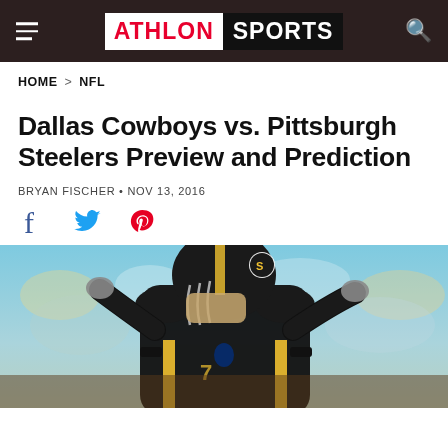ATHLON SPORTS
HOME > NFL
Dallas Cowboys vs. Pittsburgh Steelers Preview and Prediction
BRYAN FISCHER • NOV 13, 2016
[Figure (photo): Pittsburgh Steelers quarterback in black and yellow uniform with helmet on, raising both arms on a football field with crowd in background]
[Figure (infographic): Social share icons: Facebook, Twitter, Pinterest]